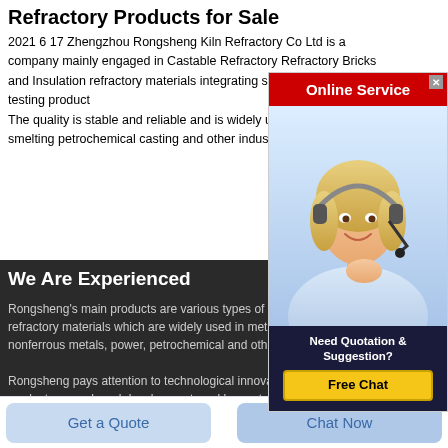Refractory Products for Sale
2021 6 17 Zhengzhou Rongsheng Kiln Refractory Co Ltd is a company mainly engaged in Castable Refractory Refractory Bricks and Insulation refractory materials integrating scientific research testing product The quality is stable and reliable and is widely used in smelting petrochemical casting and other industries
[Figure (photo): Online Service popup with woman wearing headset, red header bar, 'Need Quotation & Suggestion?' text, and yellow Free Chat button]
We Are Experienced
Rongsheng's main products are various types of unshaped refractory materials which are widely used in metallurgy, nonferrous metals, power, petrochemical and other industries. Rongsheng pays attention to technological innovation and product research and development, and has established close cooperative relations with many universities and scientific research institutes.
Get a Quote
Chat Now